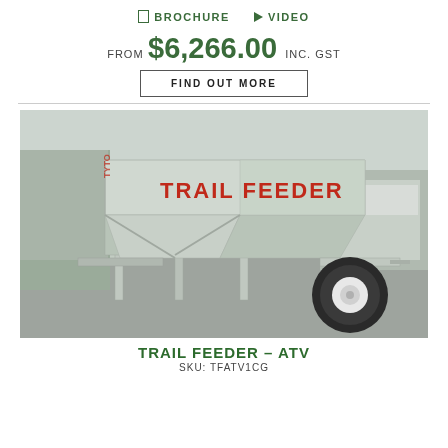BROCHURE   VIDEO
FROM $6,266.00 INC. GST
FIND OUT MORE
[Figure (photo): Trail Feeder ATV product photo — a galvanized steel hopper/feeder on a single-wheel ATV trailer, with 'TRAIL FEEDER' in large red letters on the hopper side, photographed in a yard with trucks and cars in the background.]
TRAIL FEEDER – ATV
SKU: TFATV1CG